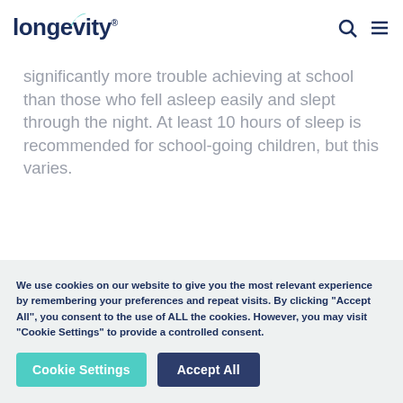longevity
significantly more trouble achieving at school than those who fell asleep easily and slept through the night. At least 10 hours of sleep is recommended for school-going children, but this varies.
We use cookies on our website to give you the most relevant experience by remembering your preferences and repeat visits. By clicking "Accept All", you consent to the use of ALL the cookies. However, you may visit "Cookie Settings" to provide a controlled consent.